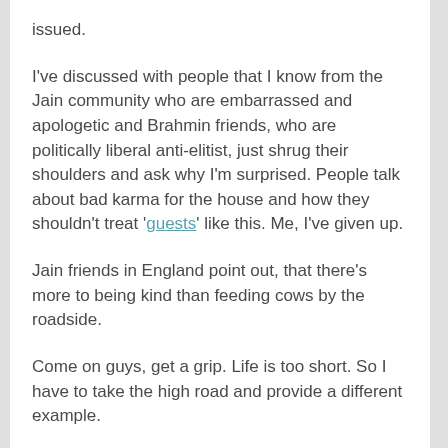issued.
I've discussed with people that I know from the Jain community who are embarrassed and apologetic and Brahmin friends, who are politically liberal anti-elitist, just shrug their shoulders and ask why I'm surprised. People talk about bad karma for the house and how they shouldn't treat 'guests' like this. Me, I've given up.
Jain friends in England point out, that there's more to being kind than feeding cows by the roadside.
Come on guys, get a grip. Life is too short. So I have to take the high road and provide a different example.
So let's be positive...